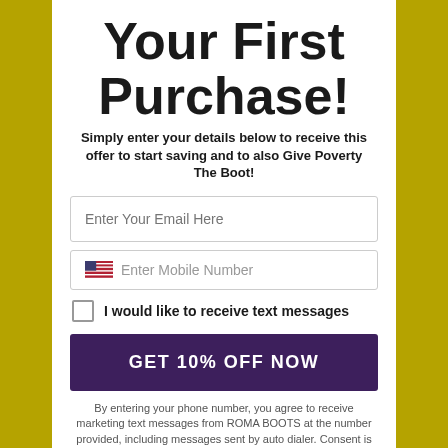Your First Purchase!
Simply enter your details below to receive this offer to start saving and to also Give Poverty The Boot!
Enter Your Email Here
Enter Mobile Number
I would like to receive text messages
GET 10% OFF NOW
By entering your phone number, you agree to receive marketing text messages from ROMA BOOTS at the number provided, including messages sent by auto dialer. Consent is not a condition of any purchase. Message and data rates may